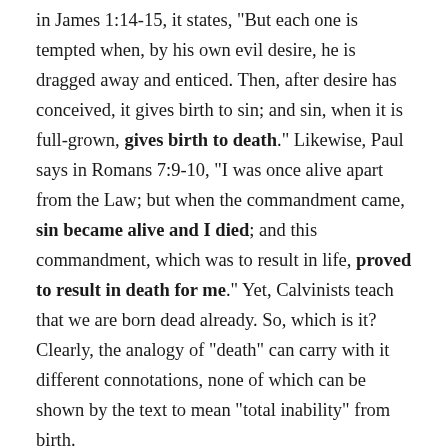In James 1:14-15, it states, "But each one is tempted when, by his own evil desire, he is dragged away and enticed. Then, after desire has conceived, it gives birth to sin; and sin, when it is full-grown, gives birth to death." Likewise, Paul says in Romans 7:9-10, "I was once alive apart from the Law; but when the commandment came, sin became alive and I died; and this commandment, which was to result in life, proved to result in death for me." Yet, Calvinists teach that we are born dead already. So, which is it? Clearly, the analogy of “death” can carry with it different connotations, none of which can be shown by the text to mean “total inability” from birth.
Finally, if spiritual deadness is taken in a woodenly literal way by the Calvinist when it comes to mankind’s inability to respond willingly, then why can the “corpse-like dead…